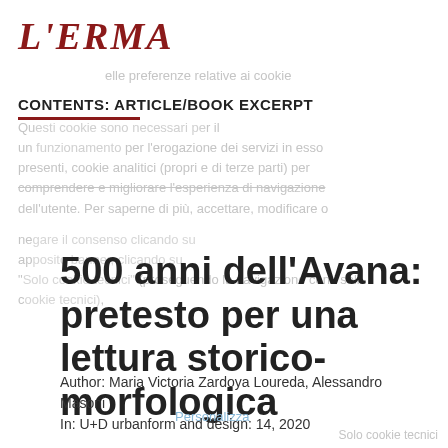L'ERMA
CONTENTS: ARTICLE/BOOK EXCERPT
500 anni dell'Avana: pretesto per una lettura storico-morfologica
Author: Maria Victoria Zardoya Loureda, Alessandro Masoni
In: U+D urbanform and design: 14, 2020